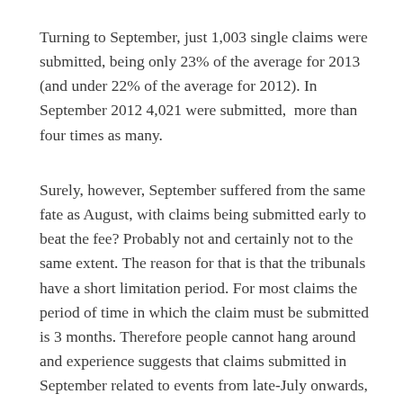Turning to September, just 1,003 single claims were submitted, being only 23% of the average for 2013 (and under 22% of the average for 2012). In September 2012 4,021 were submitted, more than four times as many.
Surely, however, September suffered from the same fate as August, with claims being submitted early to beat the fee? Probably not and certainly not to the same extent. The reason for that is that the tribunals have a short limitation period. For most claims the period of time in which the claim must be submitted is 3 months. Therefore people cannot hang around and experience suggests that claims submitted in September related to events from late-July onwards, so those claimants would not have had the ability to bring forward submission of their claims in the same